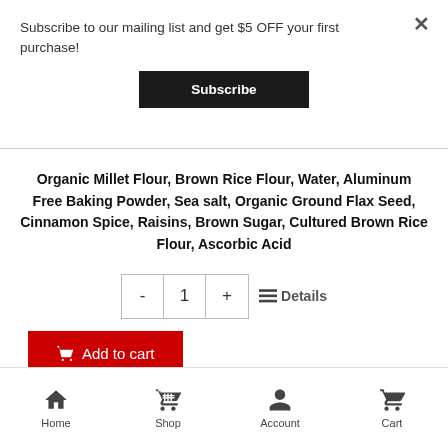Subscribe to our mailing list and get $5 OFF your first purchase!
Subscribe
Organic Millet Flour, Brown Rice Flour, Water, Aluminum Free Baking Powder, Sea salt, Organic Ground Flax Seed, Cinnamon Spice, Raisins, Brown Sugar, Cultured Brown Rice Flour, Ascorbic Acid
- 1 +
Details
Add to cart
Home  Shop  Account  Cart